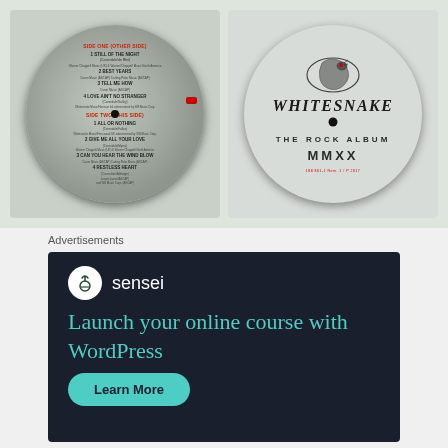[Figure (photo): Two vinyl record labels side by side. Left label (Side One / Other Side): grey/green mottled label with red text headings showing track listings including 'Still of the Night', 'Best Years', 'Tell Me How', 'Love Ain't No Stranger' on Side One, and 'All or Nothing', 'Give Me All Your Love', 'Can You Hear the Wind Blow', 'Restless Heart' on Side Two. Small red rectangular logo in center-right area. Right label: grey circular label featuring a coiled snake illustration at top, 'Whitesnake' in stylized gothic font, 'The Rock Album' text, 'MMXX' year, and small red catalog number text at bottom.]
Advertisements
[Figure (screenshot): Dark navy advertisement for Sensei. Top left shows white circle with tree/person icon and 'sensei' text in white. Main headline in teal/turquoise: 'Launch your online course with WordPress'. Teal rounded button at bottom: 'Learn More'.]